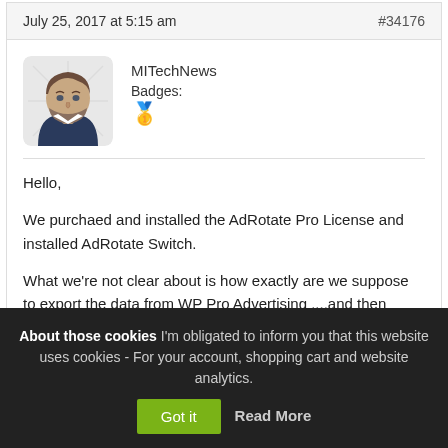July 25, 2017 at 5:15 am   #34176
[Figure (illustration): Cartoon avatar of a man with brown hair and beard wearing a dark jacket]
MITechNews
Badges:
🥇
Hello,

We purchaed and installed the AdRotate Pro License and installed AdRotate Switch.

What we're not clear about is how exactly are we suppose to export the data from WP Pro Advertising ....and then import it into AdRotate via AdRotate Switch.

We looked at all the information and I think we're missing something about this process.
About those cookies I'm obligated to inform you that this website uses cookies - For your account, shopping cart and website analytics.
Got it   Read More